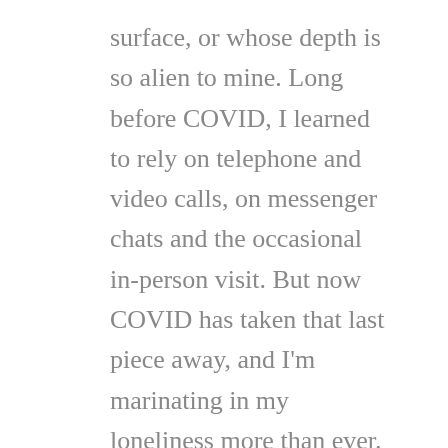surface, or whose depth is so alien to mine. Long before COVID, I learned to rely on telephone and video calls, on messenger chats and the occasional in-person visit. But now COVID has taken that last piece away, and I'm marinating in my loneliness more than ever.
Perhaps it's time to reconsider my strategy. Try once more to connect on a deeper level with people who have drifted a little through time and circumstance. See if I can nurture those friendships. Even if they are further away, even if we